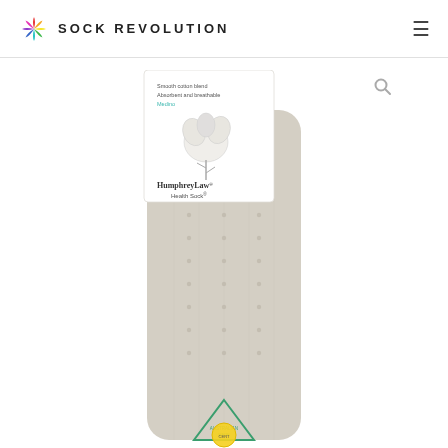SOCK REVOLUTION
[Figure (photo): Humphrey Law Health Sock product photo showing a beige/linen colored knee-high sock with dotted texture pattern and a white label attached to the top reading 'Smooth cotton blend, Absorbent and breathable, HumphreyLaw Health Sock' with a cotton plant illustration. A green triangular Australian Made logo and a yellow certification badge are visible at the bottom of the sock.]